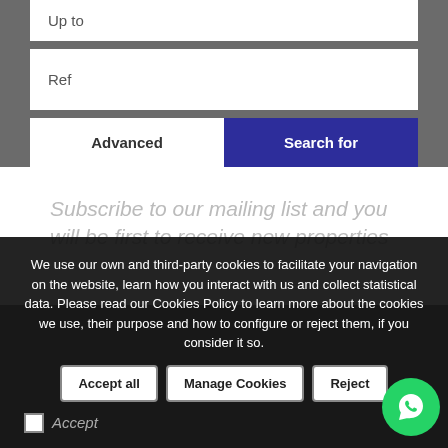Up to
Ref
Advanced
Search for
Subscribe to our mailing list and you will be first to receive new properties
We use our own and third-party cookies to facilitate your navigation on the website, learn how you interact with us and collect statistical data. Please read our Cookies Policy to learn more about the cookies we use, their purpose and how to configure or reject them, if you consider it so.
Accept all
Manage Cookies
Reject
Accept